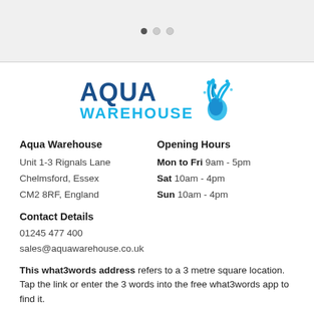[Figure (screenshot): Top grey banner with three pagination dots (one filled, two empty)]
[Figure (logo): Aqua Warehouse logo with blue text and water splash graphic]
Aqua Warehouse
Opening Hours
Unit 1-3 Rignals Lane
Mon to Fri 9am - 5pm
Chelmsford, Essex
Sat 10am - 4pm
CM2 8RF, England
Sun 10am - 4pm
Contact Details
01245 477 400
sales@aquawarehouse.co.uk
This what3words address refers to a 3 metre square location. Tap the link or enter the 3 words into the free what3words app to find it.